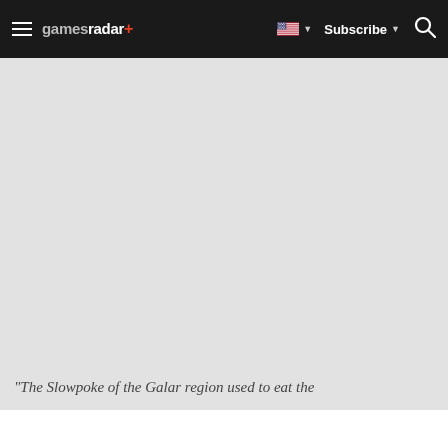gamesradar+ | Subscribe
[Figure (other): Large image area (gray placeholder) showing content related to Slowpoke of the Galar region]
"The Slowpoke of the Galar region used to eat the